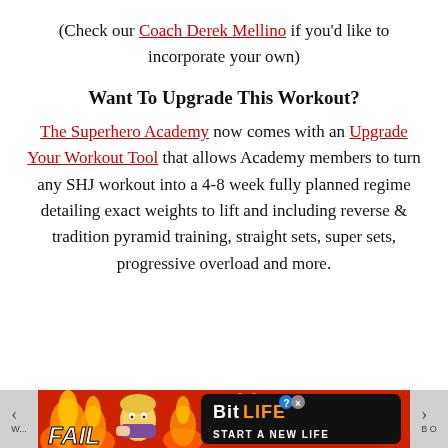(Check our Coach Derek Mellino if you'd like to incorporate your own)
Want To Upgrade This Workout?
The Superhero Academy now comes with an Upgrade Your Workout Tool that allows Academy members to turn any SHJ workout into a 4-8 week fully planned regime detailing exact weights to lift and including reverse & tradition pyramid training, straight sets, super sets, progressive overload and more.
[Figure (screenshot): Advertisement banner for BitLife mobile game showing 'FAIL' text, animated character, fire graphics, BitLife logo and 'START A NEW LIFE' tagline, with navigation arrows on either side.]